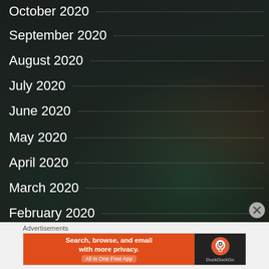October 2020
September 2020
August 2020
July 2020
June 2020
May 2020
April 2020
March 2020
February 2020
Advertisements
[Figure (other): DuckDuckGo advertisement banner: 'Search, browse, and email with more privacy. All in One Free App' with DuckDuckGo logo on dark background]